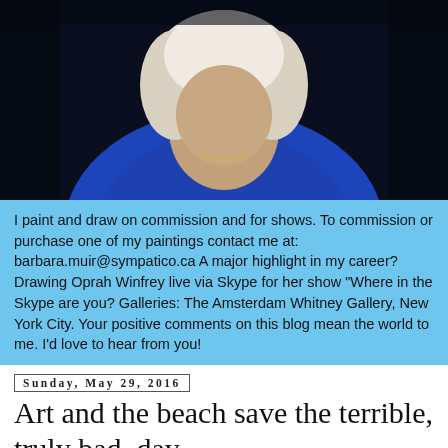[Figure (photo): Portrait photo of a woman with white/blonde hair and blue jacket, dark background]
I paint and draw on commission and for shows. To commission or purchase one of my paintings contact me at: barbara.muir@sympatico.ca A major highlight in my career? Drawing Oprah Winfrey live via Skype for her show "Where in the Skype are you? Galleries: The Amsterdam Whitney Gallery, New York City. Your positive comments on this blog mean the world to me. I'd love to hear from you!
Sunday, May 29, 2016
Art and the beach save the terrible, truly bad, day.
[Figure (photo): Partial bottom image, appears to be a beach or artwork scene, partially cut off]